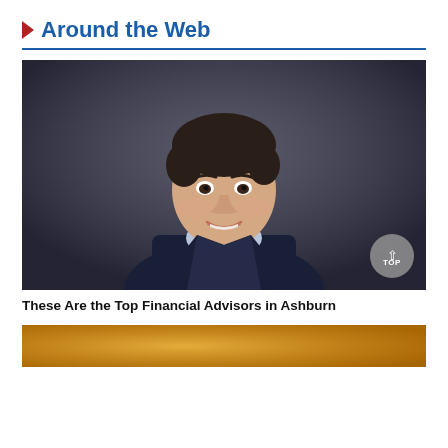Around the Web
[Figure (photo): Professional headshot of a young woman with short dark hair, wearing a navy blazer and light blue turtleneck, smiling against a dark gray background. A 'TOP' navigation button is overlaid in the bottom-right corner.]
These Are the Top Financial Advisors in Ashburn
[Figure (photo): Partial view of a second image at the bottom of the page, showing a warm golden/orange toned background, possibly another person or object.]